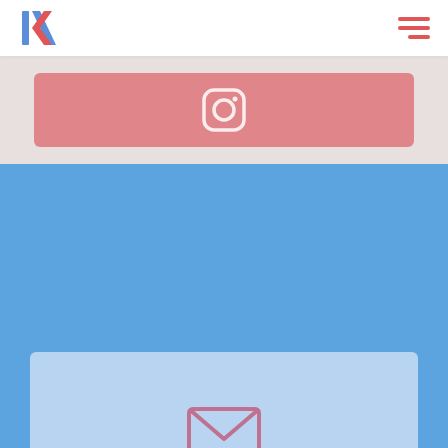Korona — navigation bar with logo and hamburger menu
[Figure (logo): Korona logo — stylized K letters in blue and red]
[Figure (illustration): Instagram icon in a salmon/pink rounded rectangle card on a light grey background]
[Figure (illustration): Mail envelope icon on a light blue card over a blue background, with GET IN TOUCH label]
GET IN TOUCH
COPYRIGHT © 2021 KORONA | DESIGNED AND DEVELOPED BY KRIZY SEE